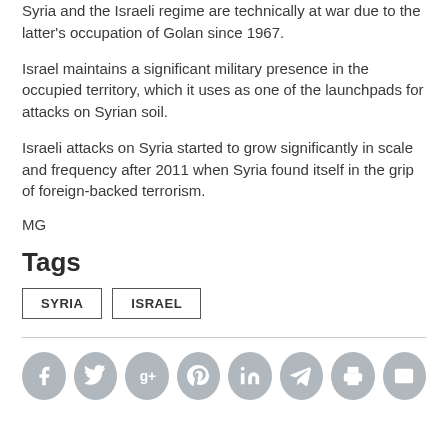Syria and the Israeli regime are technically at war due to the latter's occupation of Golan since 1967.
Israel maintains a significant military presence in the occupied territory, which it uses as one of the launchpads for attacks on Syrian soil.
Israeli attacks on Syria started to grow significantly in scale and frequency after 2011 when Syria found itself in the grip of foreign-backed terrorism.
MG
Tags
SYRIA
ISRAEL
[Figure (infographic): Row of social media sharing icons: Facebook, Twitter, Google+, Pinterest, LinkedIn, Telegram, Print, Email — all in rounded gray circles]